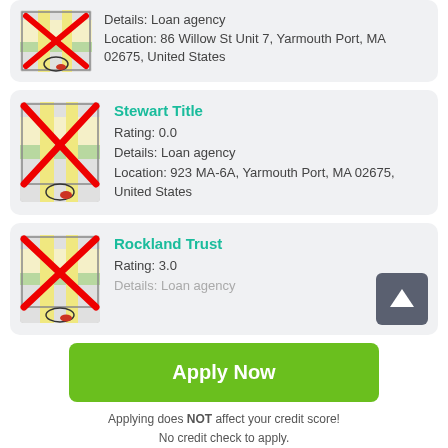[Figure (screenshot): First listing card (partial): map icon with red X, Details: Loan agency, Location: 86 Willow St Unit 7, Yarmouth Port, MA 02675, United States]
[Figure (screenshot): Second listing card: Stewart Title, map icon with red X, Rating: 0.0, Details: Loan agency, Location: 923 MA-6A, Yarmouth Port, MA 02675, United States]
[Figure (screenshot): Third listing card (partial): Rockland Trust, map icon with red X, Rating: 3.0, Details: Loan agency, with up-arrow scroll button]
Apply Now
Applying does NOT affect your credit score! No credit check to apply.